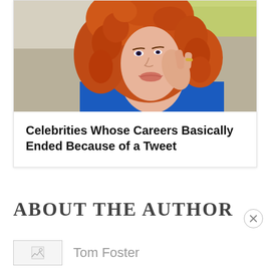[Figure (photo): Woman with curly red hair touching her face, wearing a blue top, seated near a light-colored sofa with green pillow in background]
Celebrities Whose Careers Basically Ended Because of a Tweet
ABOUT THE AUTHOR
[Figure (photo): Author photo placeholder (broken image icon)]
Tom Foster